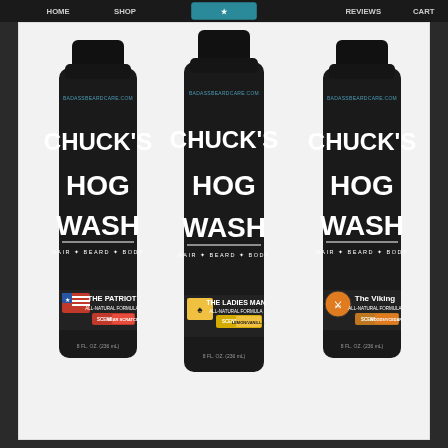[Figure (photo): Three black bottles of Chuck's Hog Wash Hair + Beard + Body wash from badassbeardcare.com. Left bottle is 'The Patriot' scent: Bear Scratch, center bottle is 'The Ladies Man' scent: Lemon/Vanilla, right bottle is 'The Viking' scent: Woodsy/Cedar. All are 8 fl. oz. (236 mL) with All-Natural Formula.]